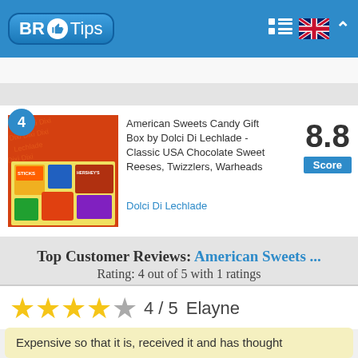BR Tips
American Sweets Candy Gift Box by Dolci Di Lechlade - Classic USA Chocolate Sweet Reeses, Twizzlers, Warheads
Dolci Di Lechlade
8.8 Score
Top Customer Reviews: American Sweets ...
Rating: 4 out of 5 with 1 ratings
4 / 5   Elayne
Expensive so that it is, received it and has thought